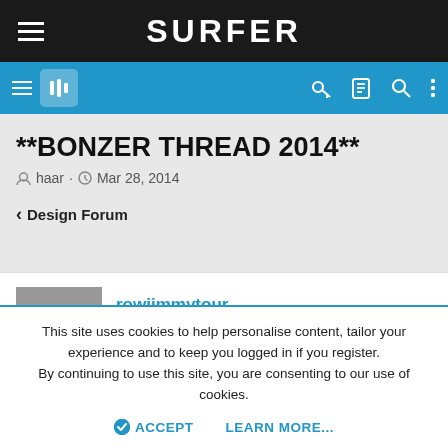SURFER
**BONZER THREAD 2014**
haar · Mar 28, 2014
< Design Forum
rowjimmytour
Tom Curren status
This site uses cookies to help personalise content, tailor your experience and to keep you logged in if you register.
By continuing to use this site, you are consenting to our use of cookies.
ACCEPT   LEARN MORE...